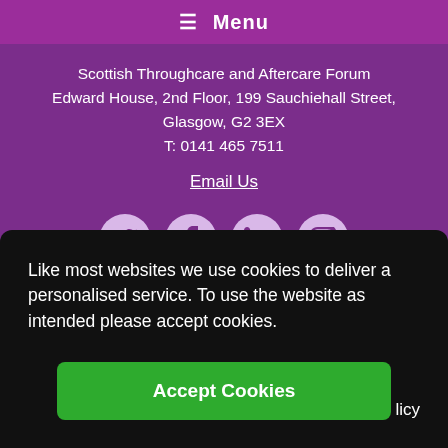≡ Menu
Scottish Throughcare and Aftercare Forum
Edward House, 2nd Floor, 199 Sauchiehall Street,
Glasgow, G2 3EX
T: 0141 465 7511
Email Us
[Figure (illustration): Four social media icons in light purple circles: Twitter (bird), Facebook (f), LinkedIn (in), Instagram (camera)]
Like most websites we use cookies to deliver a personalised service. To use the website as intended please accept cookies.
Accept Cookies
licy